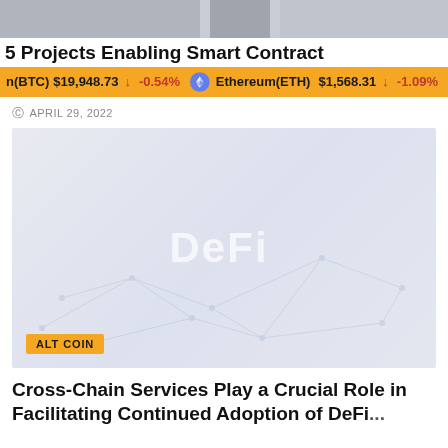[Figure (photo): Partial top image strip showing cropped photos]
5 Projects Enabling Smart Contract
n(BTC) $19,948.73 ↓ -0.54% Ethereum(ETH) $1,568.31 ↓ -1.09%
APRIL 29, 2022
[Figure (illustration): DeFi themed image with network graph lines on light blue-grey background, with ALT COIN badge overlay]
Cross-Chain Services Play a Crucial Role in Facilitating Continued Adoption of DeFi...